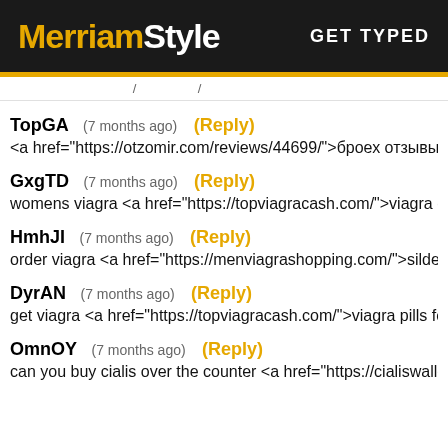MerriamStyle  GET TYPED
TopGA  (7 months ago)  (Reply)
<a href="https://otzomir.com/reviews/44699/">броех отзывы</a
GxgTD  (7 months ago)  (Reply)
womens viagra <a href="https://topviagracash.com/">viagra cia
HmhJI  (7 months ago)  (Reply)
order viagra <a href="https://menviagrashopping.com/">sildena
DyrAN  (7 months ago)  (Reply)
get viagra <a href="https://topviagracash.com/">viagra pills for
OmnOY  (7 months ago)  (Reply)
can you buy cialis over the counter <a href="https://cialiswallet.